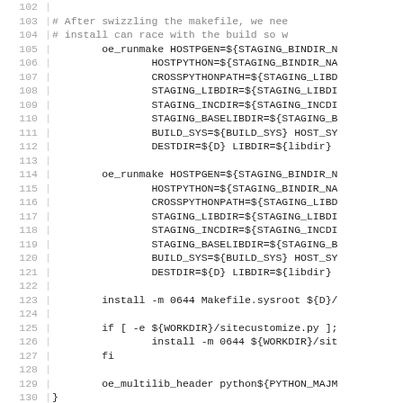Source code listing lines 102–131 showing shell script / Makefile recipe code